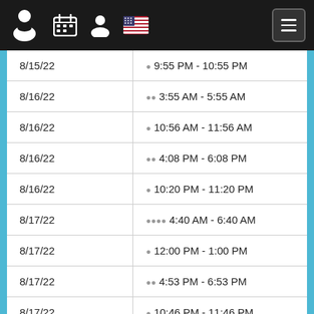Navigation header with icons and menu button
| Date | Time Range |
| --- | --- |
| 8/15/22 | 🌙 9:55 PM - 10:55 PM |
| 8/16/22 | 🌙🌙 3:55 AM - 5:55 AM |
| 8/16/22 | 🌙 10:56 AM - 11:56 AM |
| 8/16/22 | 🌙🌙 4:08 PM - 6:08 PM |
| 8/16/22 | 🌙 10:20 PM - 11:20 PM |
| 8/17/22 | 🌙🌙🌙🌙 4:40 AM - 6:40 AM |
| 8/17/22 | 🌙 12:00 PM - 1:00 PM |
| 8/17/22 | 🌙🌙 4:53 PM - 6:53 PM |
| 8/17/22 | 🌙 10:46 PM - 11:46 PM |
| 8/18/22 | 🌙🌙🌙🌙🌙 5:25 AM - 7:25 AM |
| 8/18/22 | 🌙 1:05 PM - 2:05 PM |